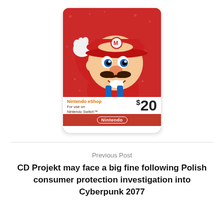[Figure (photo): Nintendo eShop $20 gift card featuring Super Mario character on a red background. The card shows 'Nintendo eShop For use on Nintendo Switch™ $20' text and a Nintendo logo at the bottom.]
Previous Post
CD Projekt may face a big fine following Polish consumer protection investigation into Cyberpunk 2077